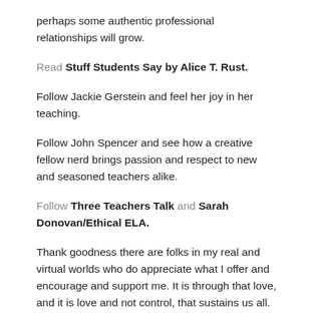perhaps some authentic professional relationships will grow.
Read Stuff Students Say by Alice T. Rust.
Follow Jackie Gerstein and feel her joy in her teaching.
Follow John Spencer and see how a creative fellow nerd brings passion and respect to new and seasoned teachers alike.
Follow Three Teachers Talk and Sarah Donovan/Ethical ELA.
Thank goodness there are folks in my real and virtual worlds who do appreciate what I offer and encourage and support me. It is through that love, and it is love and not control, that sustains us all.